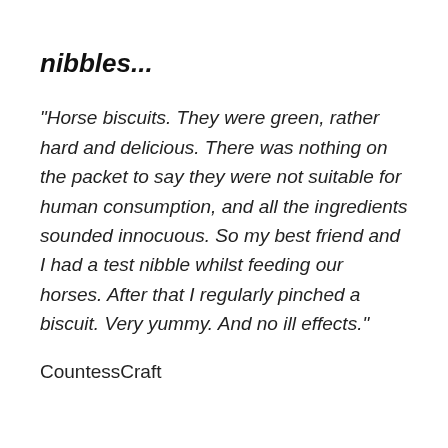nibbles...
"Horse biscuits. They were green, rather hard and delicious. There was nothing on the packet to say they were not suitable for human consumption, and all the ingredients sounded innocuous. So my best friend and I had a test nibble whilst feeding our horses. After that I regularly pinched a biscuit. Very yummy. And no ill effects."
CountessCraft